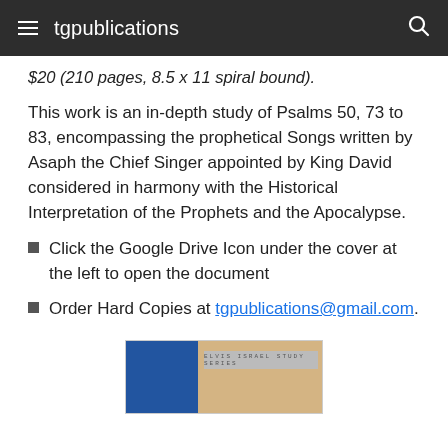tgpublications
$20 (210 pages, 8.5 x 11 spiral bound).
This work is an in-depth study of Psalms 50, 73 to 83, encompassing the prophetical Songs written by Asaph the Chief Singer appointed by King David considered in harmony with the Historical Interpretation of the Prophets and the Apocalypse.
Click the Google Drive Icon under the cover at the left to open the document
Order Hard Copies at tgpublications@gmail.com.
[Figure (photo): Partial book cover image showing 'Elvis Israel Study Series' text with blue and tan design elements]